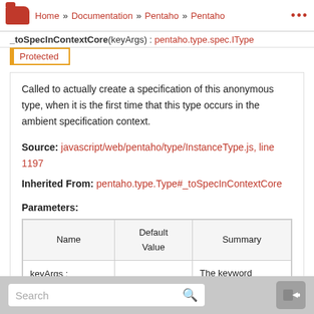Home » Documentation » Pentaho » Pentaho ...
_toSpecInContextCore(keyArgs) : pentaho.type.spec.IType
Protected
Called to actually create a specification of this anonymous type, when it is the first time that this type occurs in the ambient specification context.
Source: javascript/web/pentaho/type/InstanceType.js, line 1197
Inherited From: pentaho.type.Type#_toSpecInContextCore
Parameters:
| Name | Default Value | Summary |
| --- | --- | --- |
| keyArgs : object |  | The keyword arguments object. Passed to every type and instance serialized within this scope. |
Search